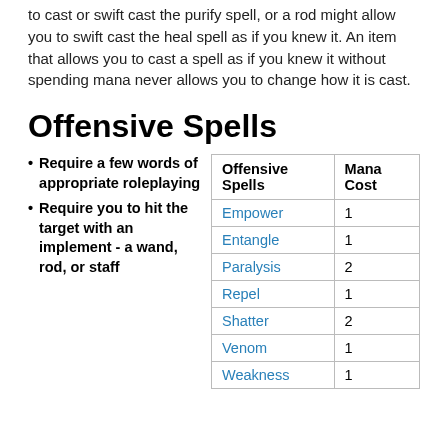to cast or swift cast the purify spell, or a rod might allow you to swift cast the heal spell as if you knew it. An item that allows you to cast a spell as if you knew it without spending mana never allows you to change how it is cast.
Offensive Spells
Require a few words of appropriate roleplaying
Require you to hit the target with an implement - a wand, rod, or staff
| Offensive Spells | Mana Cost |
| --- | --- |
| Empower | 1 |
| Entangle | 1 |
| Paralysis | 2 |
| Repel | 1 |
| Shatter | 2 |
| Venom | 1 |
| Weakness | 1 |